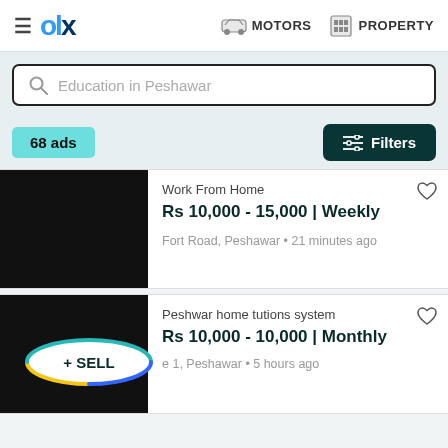≡  olx  🚗 MOTORS  🏢 PROPERTY
Education in Peshawar
68 ads
Filters
Work From Home
Rs 10,000 - 15,000 | Weekly
Fort Road, Peshawar • 21 minutes ago
Peshwar home tutions system
Rs 10,000 - 10,000 | Monthly
e 1, Peshawar • 5 hours ago